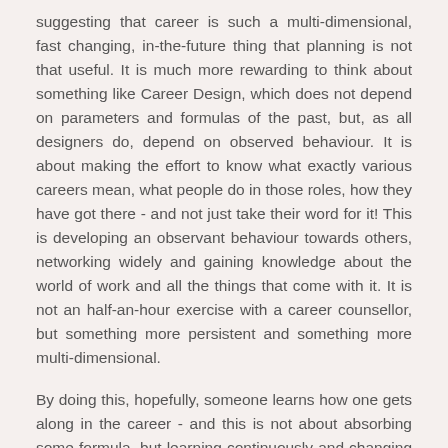suggesting that career is such a multi-dimensional, fast changing, in-the-future thing that planning is not that useful. It is much more rewarding to think about something like Career Design, which does not depend on parameters and formulas of the past, but, as all designers do, depend on observed behaviour. It is about making the effort to know what exactly various careers mean, what people do in those roles, how they have got there - and not just take their word for it! This is developing an observant behaviour towards others, networking widely and gaining knowledge about the world of work and all the things that come with it. It is not an half-an-hour exercise with a career counsellor, but something more persistent and something more multi-dimensional.
By doing this, hopefully, someone learns how one gets along in the career - and this is not about absorbing some formula, but learning continuously and changing behaviour. This can prepare the observer for all twists and turns, and also develop an approach to change and uncertainty. This indeed needs to